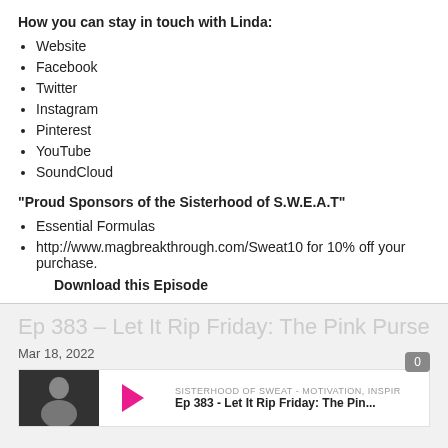How you can stay in touch with Linda:
Website
Facebook
Twitter
Instagram
Pinterest
YouTube
SoundCloud
"Proud Sponsors of the Sisterhood of S.W.E.A.T"
Essential Formulas
http://www.magbreakthrough.com/Sweat10 for 10% off your purchase.
Download this Episode
Ep 383 – Let It Rip Friday: The Pink Purse
Mar 18, 2022
0
SISTERHOOD OF SWEAT - MOTIVATION, INSPIR
Ep 383 - Let It Rip Friday: The Pin...